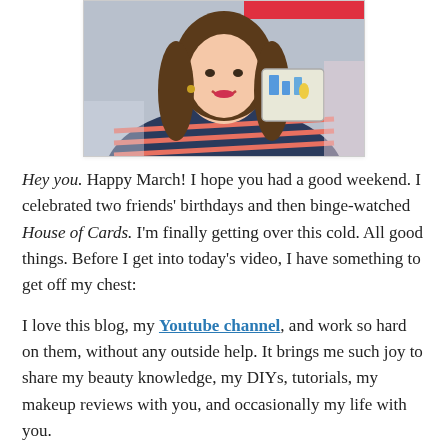[Figure (photo): A smiling young woman with long brown hair wearing a navy blue striped top, holding up a card or piece of paper. The image appears to be a cropped screenshot from a YouTube video thumbnail.]
Hey you. Happy March! I hope you had a good weekend. I celebrated two friends' birthdays and then binge-watched House of Cards. I'm finally getting over this cold. All good things. Before I get into today's video, I have something to get off my chest:
I love this blog, my Youtube channel, and work so hard on them, without any outside help. It brings me such joy to share my beauty knowledge, my DIYs, tutorials, my makeup reviews with you, and occasionally my life with you.
But when the comments I receive are only on the life tidbits and don't mention the beauty post itself, it really frustrates me. It makes me feel like the commenter skipped to the